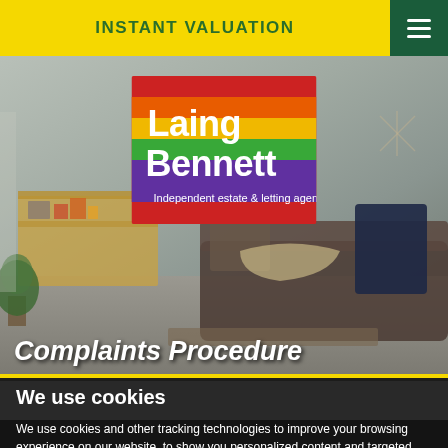INSTANT VALUATION
[Figure (logo): Laing Bennett - Independent estate & letting agents logo with rainbow colored horizontal stripes (red, orange, yellow, green, blue/purple)]
[Figure (photo): Interior room with a shelf unit on the left, sofa on the right, coffee table, plants, and decorative items against a grey wall background]
Complaints Procedure
We use cookies
We use cookies and other tracking technologies to improve your browsing experience on our website, to show you personalized content and targeted ads, to analyze our website traffic, and to understand where our visitors are coming from.